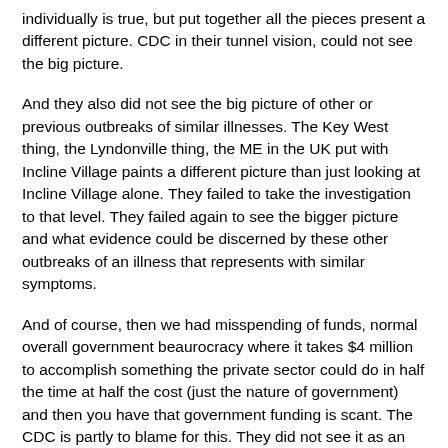individually is true, but put together all the pieces present a different picture. CDC in their tunnel vision, could not see the big picture.
And they also did not see the big picture of other or previous outbreaks of similar illnesses. The Key West thing, the Lyndonville thing, the ME in the UK put with Incline Village paints a different picture than just looking at Incline Village alone. They failed to take the investigation to that level. They failed again to see the bigger picture and what evidence could be discerned by these other outbreaks of an illness that represents with similar symptoms.
And of course, then we had misspending of funds, normal overall government beaurocracy where it takes $4 million to accomplish something the private sector could do in half the time at half the cost (just the nature of government) and then you have that government funding is scant. The CDC is partly to blame for this. They did not see it as an overall public health threat (no big bad bug under the microscope) so why put it up high on the priority list for funding.